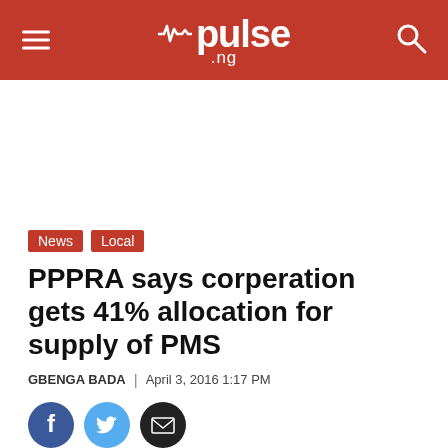pulse.ng
[Figure (other): Advertisement space / white banner area]
News   Local
PPPRA says corperation gets 41% allocation for supply of PMS
GBENGA BADA | April 3, 2016 1:17 PM
[Figure (other): Social sharing icons: Facebook, Twitter, Email]
It warned that adequate sanctions awaited any